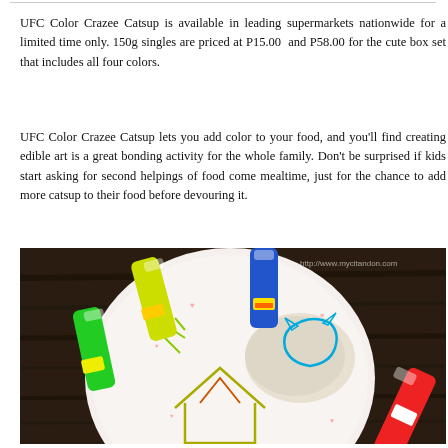UFC Color Crazee Catsup is available in leading supermarkets nationwide for a limited time only. 150g singles are priced at P15.00 and P58.00 for the cute box set that includes all four colors.
UFC Color Crazee Catsup lets you add color to your food, and you'll find creating edible art is a great bonding activity for the whole family. Don't be surprised if kids start asking for second helpings of food come mealtime, just for the chance to add more catsup to their food before devouring it.
[Figure (photo): Photo of colorful UFC Color Crazee Catsup bottles (blue, yellow/green, green) arranged on a wooden table next to a white plate with colorful catsup art drawn on food, and a red catsup bottle on the right. Watermark reads http://www.mycitandon.com]